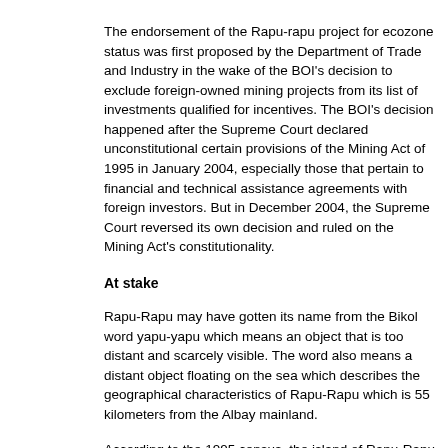The endorsement of the Rapu-rapu project for ecozone status was first proposed by the Department of Trade and Industry in the wake of the BOI's decision to exclude foreign-owned mining projects from its list of investments qualified for incentives. The BOI's decision happened after the Supreme Court declared unconstitutional certain provisions of the Mining Act of 1995 in January 2004, especially those that pertain to financial and technical assistance agreements with foreign investors. But in December 2004, the Supreme Court reversed its own decision and ruled on the Mining Act's constitutionality.
At stake
Rapu-Rapu may have gotten its name from the Bikol word yapu-yapu which means an object that is too distant and scarcely visible. The word also means a distant object floating on the sea which describes the geographical characteristics of Rapu-Rapu which is 55 kilometers from the Albay mainland.
According to the 1995 census, the island of Rapu-Rapu has a land area of 5,589 hectares and a population of 9,132.
Situated north of Lagonoy Gulf, southwest of Pacific Ocean, and east of Albay Gulf, fishing and farming in the